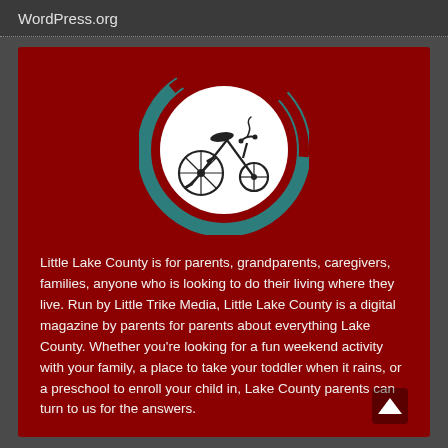WordPress.org
[Figure (logo): Circular logo with teal and dark red swooshes on a white circle background, containing a hand-drawn tricycle illustration in the center. Logo for Little Lake County / Little Trike Media.]
Little Lake County is for parents, grandparents, caregivers, families, anyone who is looking to do their living where they live. Run by Little Trike Media, Little Lake County is a digital magazine by parents for parents about everything Lake County. Whether you're looking for a fun weekend activity with your family, a place to take your toddler when it rains, or a preschool to enroll your child in, Lake County parents can turn to us for the answers.